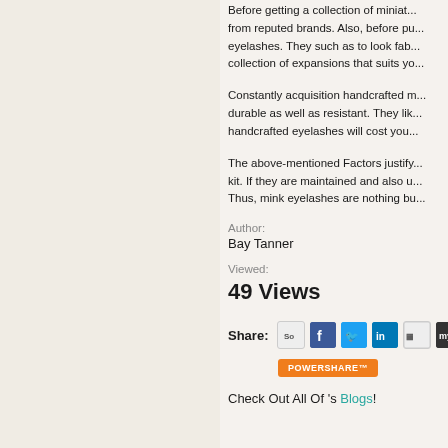Before getting a collection of miniat... from reputed brands. Also, before pu... eyelashes. They such as to look fab... collection of expansions that suits yo...
Constantly acquisition handcrafted m... durable as well as resistant. They lik... handcrafted eyelashes will cost you...
The above-mentioned Factors justify... kit. If they are maintained and also u... Thus, mink eyelashes are nothing bu...
Author:
Bay Tanner
Viewed:
49 Views
Share:
[Figure (infographic): Social share buttons: So, Facebook, Twitter, LinkedIn, Digg, MySpace, and a green icon; plus POWERSHARE orange button below]
Check Out All Of 's Blogs!